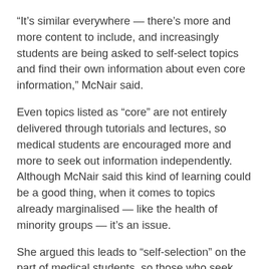“It’s similar everywhere — there’s more and more content to include, and increasingly students are being asked to self-select topics and find their own information about even core information,” McNair said.
Even topics listed as “core” are not entirely delivered through tutorials and lectures, so medical students are encouraged more and more to seek out information independently. Although McNair said this kind of learning could be a good thing, when it comes to topics already marginalised — like the health of minority groups — it’s an issue.
She argued this leads to “self-selection” on the part of medical students, so those who seek information on LGBTI health are often already aware of issues. Worse, they risk being marginalised and stigmatised within student bodies.
“It’s certainly happened to some of the Australian